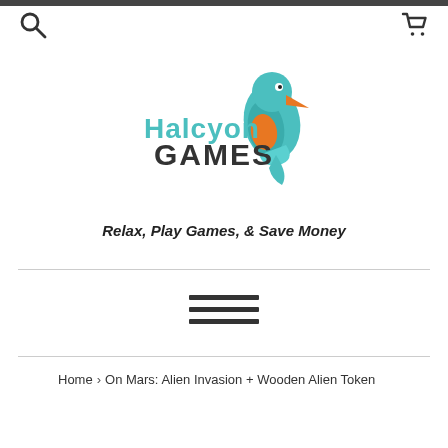Halcyon Games
[Figure (logo): Halcyon Games logo with a kingfisher bird and stylized text]
Relax, Play Games, & Save Money
≡ (hamburger menu icon)
Home › On Mars: Alien Invasion + Wooden Alien Token